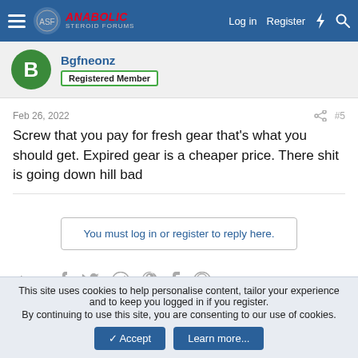Anabolic Steroid Forums — Log in  Register
Registered Member
Feb 26, 2022  #5
Screw that you pay for fresh gear that's what you should get. Expired gear is a cheaper price. There shit is going down hill bad
You must log in or register to reply here.
Share:
AAS Sponsored and Unsponsored Logs
This site uses cookies to help personalise content, tailor your experience and to keep you logged in if you register. By continuing to use this site, you are consenting to our use of cookies.